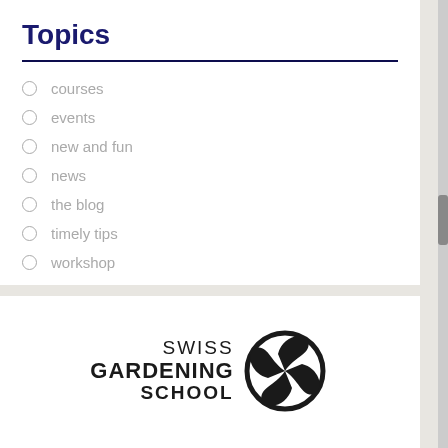Topics
courses
events
new and fun
news
the blog
timely tips
workshop
[Figure (logo): Swiss Gardening School logo with stylized pinwheel/swirl emblem in dark brown/black and text reading SWISS GARDENING SCHOOL]